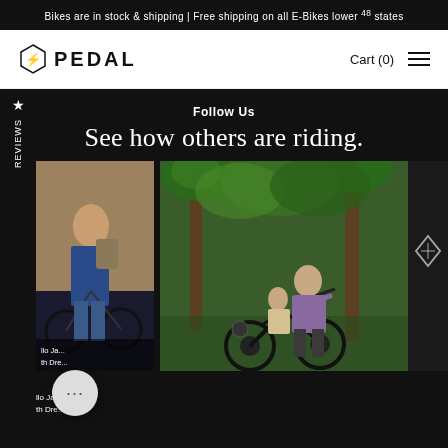Bikes are in stock & shipping | Free shipping on all E-Bikes lower 48 states
[Figure (logo): PEDAL e-bike brand logo with hexagon lightning bolt icon and word PEDAL in caps]
Cart (0)
Follow Us
See how others are riding.
Reviews
[Figure (photo): Person riding a dark e-bike near an adobe/mud brick wall, wearing jeans and a backpack]
[Figure (photo): Man in purple shirt with a young child on an e-bike, surrounded by palm trees in a tropical setting]
[Figure (photo): Partially visible photo on right edge showing dark content]
llo Ja... y one th Dre...